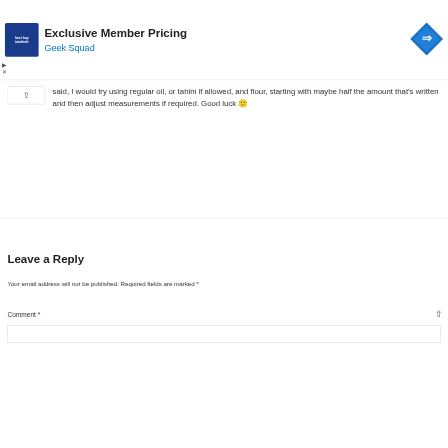[Figure (other): Ad banner: Best Buy Total Tech Exclusive Member Pricing, Geek Squad. Blue square logo on left, blue diamond arrow icon on right.]
said, I would try using regular oil, or tahini if allowed, and flour, starting with maybe half the amount that's written and then adjust measurements if required. Good luck 🙂
Leave a Reply
Your email address will not be published. Required fields are marked *
Comment *